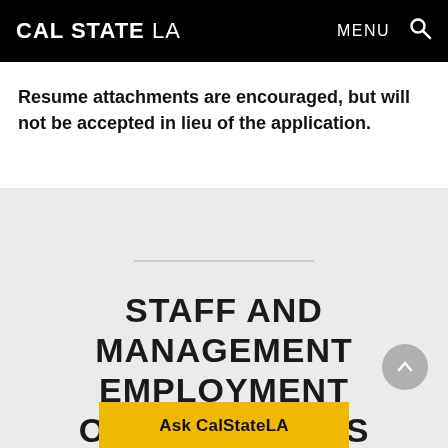CAL STATE LA   MENU
Resume attachments are encouraged, but will not be accepted in lieu of the application.
STAFF AND MANAGEMENT EMPLOYMENT OPPORTUNITIES